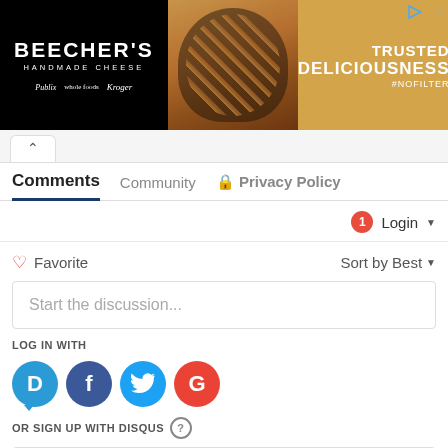[Figure (screenshot): Beecher's Handmade Cheese advertisement banner with pasta dish image and 'Trusted Deliciousness #NoFilter' tagline]
Comments   Community   Privacy Policy
1   Login
Favorite   Sort by Best
Start the discussion...
LOG IN WITH
[Figure (infographic): Social login icons: Disqus (D), Facebook (F), Twitter bird, Google (G)]
OR SIGN UP WITH DISQUS ?
Name